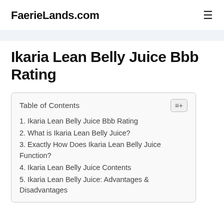FaerieLands.com
Ikaria Lean Belly Juice Bbb Rating
| Table of Contents |
| --- |
| 1. Ikaria Lean Belly Juice Bbb Rating |
| 2. What is Ikaria Lean Belly Juice? |
| 3. Exactly How Does Ikaria Lean Belly Juice Function? |
| 4. Ikaria Lean Belly Juice Contents |
| 5. Ikaria Lean Belly Juice: Advantages & Disadvantages |